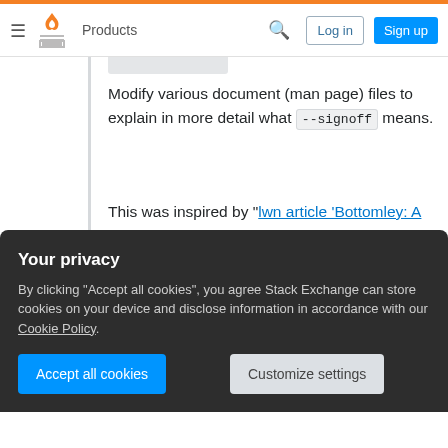Stack Overflow navigation bar with hamburger menu, logo, Products, search, Log in, Sign up buttons
Modify various document (man page) files to explain in more detail what --signoff means.
This was inspired by "lwn article 'Bottomley: A modest proposal on the DCO'" (Developer Certificate of Origin) where paulj noted:
Your privacy
By clicking "Accept all cookies", you agree Stack Exchange can store cookies on your device and disclose information in accordance with our Cookie Policy.
never mind actually seen it.